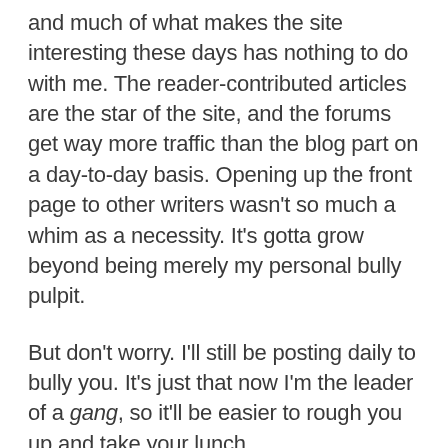and much of what makes the site interesting these days has nothing to do with me. The reader-contributed articles are the star of the site, and the forums get way more traffic than the blog part on a day-to-day basis. Opening up the front page to other writers wasn't so much a whim as a necessity. It's gotta grow beyond being merely my personal bully pulpit.
But don't worry. I'll still be posting daily to bully you. It's just that now I'm the leader of a gang, so it'll be easier to rough you up and take your lunch.